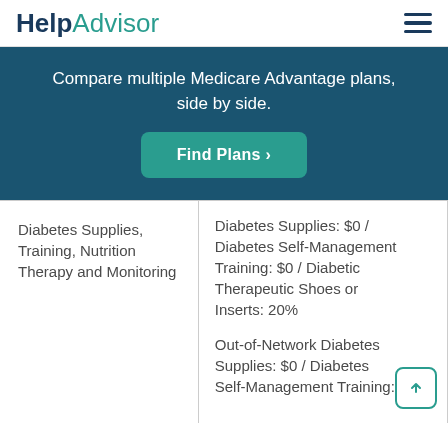HelpAdvisor
Compare multiple Medicare Advantage plans, side by side.
Find Plans >
| Category | Details |
| --- | --- |
| Diabetes Supplies, Training, Nutrition Therapy and Monitoring | Diabetes Supplies: $0 / Diabetes Self-Management Training: $0 / Diabetic Therapeutic Shoes or Inserts: 20%

Out-of-Network Diabetes Supplies: $0 / Diabetes Self-Management Training: |